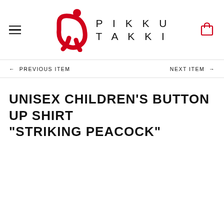PIKKU TAKKI
← PREVIOUS ITEM   NEXT ITEM →
UNISEX CHILDREN'S BUTTON UP SHIRT "STRIKING PEACOCK"